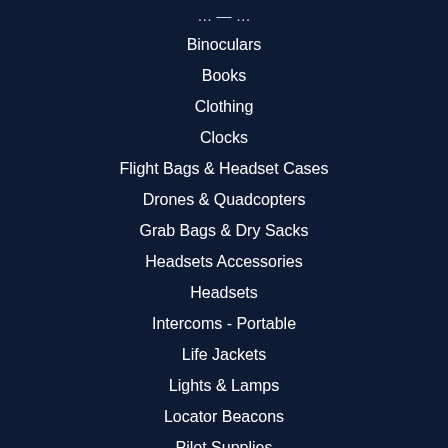Binoculars
Books
Clothing
Clocks
Flight Bags & Headset Cases
Drones & Quadcopters
Grab Bags & Dry Sacks
Headsets Accessories
Headsets
Intercoms - Portable
Life Jackets
Lights & Lamps
Locator Beacons
Pilot Supplies